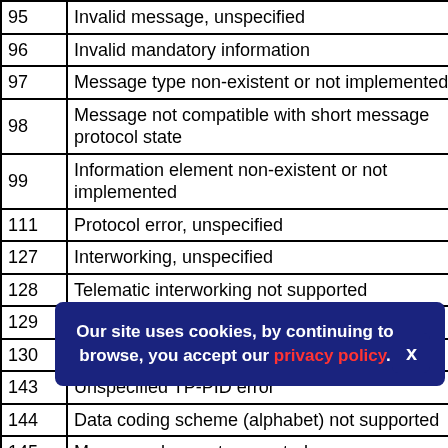| Code | Description |
| --- | --- |
| 95 | Invalid message, unspecified |
| 96 | Invalid mandatory information |
| 97 | Message type non-existent or not implemented |
| 98 | Message not compatible with short message protocol state |
| 99 | Information element non-existent or not implemented |
| 111 | Protocol error, unspecified |
| 127 | Interworking, unspecified |
| 128 | Telematic interworking not supported |
| 129 | Short message Type 0 not supported |
| 130 | Cannot replace short message |
| 143 | Unspecified TP-PID error |
| 144 | Data coding scheme (alphabet) not supported |
| 145 | Message class not supported |
| 159 | Unspecified TP-DCS error |
| 160 | Command cannot be actioned |
| 161 | Command unsupported |
| 175 | Unspecified TP-Command error |
| 176 | TPDU not supported |
| 19x | (partially obscured) |
| 19x | (partially obscured) |
| 194 | SC system failure |